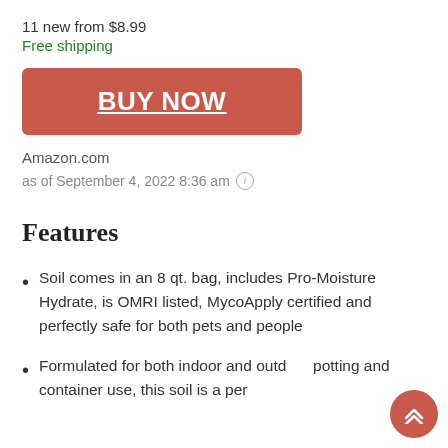11 new from $8.99
Free shipping
BUY NOW
Amazon.com
as of September 4, 2022 8:36 am ℹ
Features
Soil comes in an 8 qt. bag, includes Pro-Moisture Hydrate, is OMRI listed, MycoApply certified and perfectly safe for both pets and people
Formulated for both indoor and outdoor potting and container use, this soil is a perfect